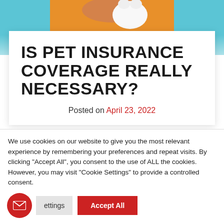[Figure (photo): Photo of a person in an orange sweater holding a white cat, with a light blue background. The image is partially visible at the top of the page.]
IS PET INSURANCE COVERAGE REALLY NECESSARY?
Posted on April 23, 2022
We use cookies on our website to give you the most relevant experience by remembering your preferences and repeat visits. By clicking "Accept All", you consent to the use of ALL the cookies. However, you may visit "Cookie Settings" to provide a controlled consent.